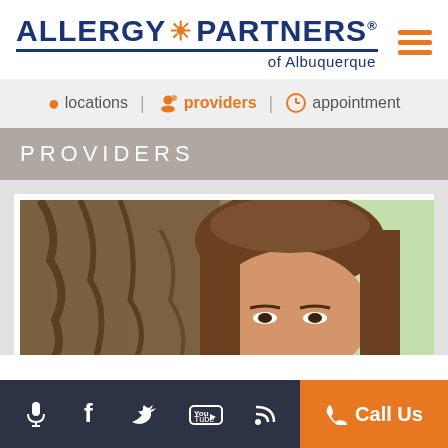[Figure (logo): Allergy Partners of Albuquerque logo with orange sun icon, dark blue text, and underline]
[Figure (infographic): Navigation bar with icons for locations, providers (highlighted orange), and appointment]
PROVIDERS
[Figure (photo): Partial photo of a woman with brown hair, with a tree bark and green background]
[Figure (infographic): Footer bar with social media icons (microphone, Facebook, Twitter, YouTube, RSS) and orange Call Us button]